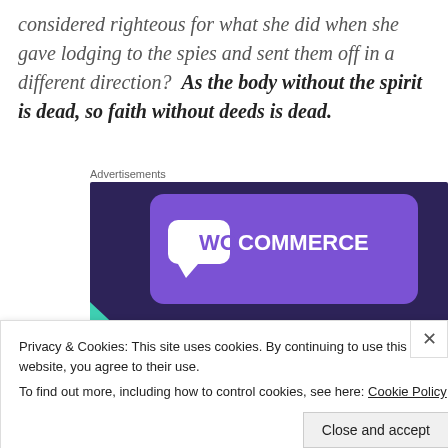considered righteous for what she did when she gave lodging to the spies and sent them off in a different direction?  As the body without the spirit is dead, so faith without deeds is dead.
Advertisements
[Figure (screenshot): WooCommerce advertisement banner with dark purple background, teal triangle accent, WooCommerce logo at top, and text 'Turn your hobby into']
Privacy & Cookies: This site uses cookies. By continuing to use this website, you agree to their use.
To find out more, including how to control cookies, see here: Cookie Policy
Close and accept